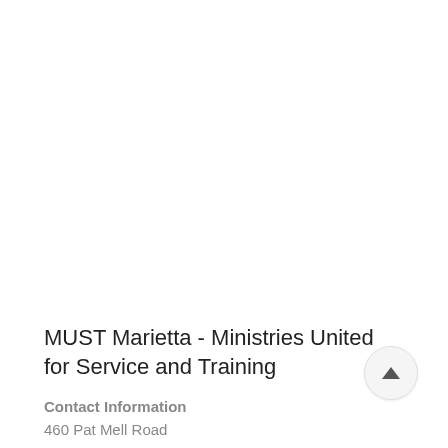MUST Marietta - Ministries United for Service and Training
Contact Information
460 Pat Mell Road